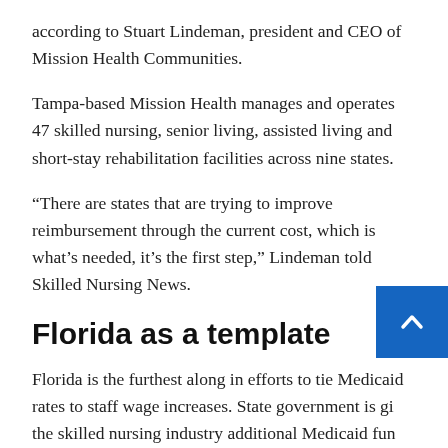according to Stuart Lindeman, president and CEO of Mission Health Communities.
Tampa-based Mission Health manages and operates 47 skilled nursing, senior living, assisted living and short-stay rehabilitation facilities across nine states.
“There are states that are trying to improve reimbursement through the current cost, which is what’s needed, it’s the first step,” Lindeman told Skilled Nursing News.
Florida as a template
Florida is the furthest along in efforts to tie Medicaid rates to staff wage increases. State government is gi… the skilled nursing industry additional Medicaid fun… but a certain amount of those extra funds would need to be…